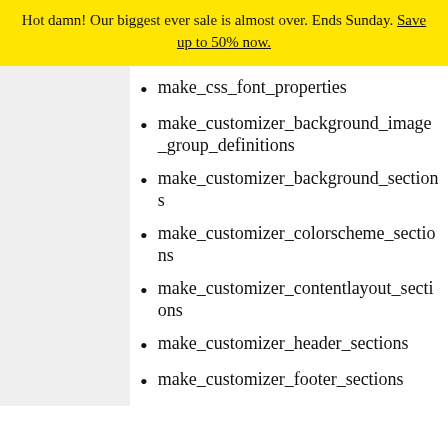Hot damn! Our biggest ever sale is almost over. Ends Sunday. Save up to 50% now.
make_css_font_properties
make_customizer_background_image_group_definitions
make_customizer_background_sections
make_customizer_colorscheme_sections
make_customizer_contentlayout_sections
make_customizer_header_sections
make_customizer_footer_sections